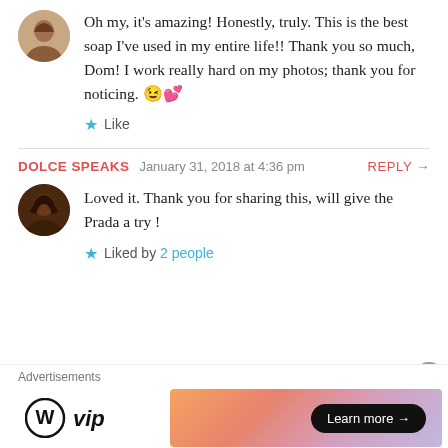Oh my, it's amazing! Honestly, truly. This is the best soap I've used in my entire life!! Thank you so much, Dom! I work really hard on my photos; thank you for noticing. 😉💕
Like
DOLCE SPEAKS  January 31, 2018 at 4:36 pm  REPLY →
Loved it. Thank you for sharing this, will give the Prada a try !
Liked by 2 people
Advertisements
[Figure (logo): WordPress VIP logo — WordPress W circle icon followed by 'vip' text]
[Figure (infographic): Colorful gradient ad banner with 'Learn more →' button]